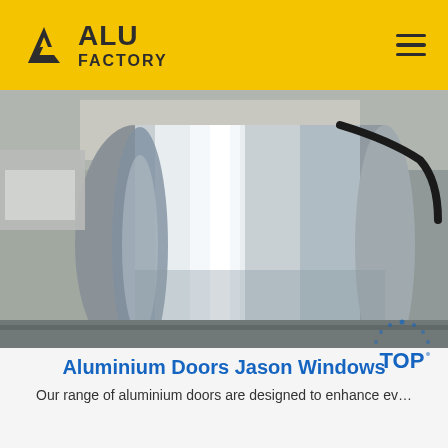ALU FACTORY
[Figure (photo): A large shiny aluminium coil roll photographed in an industrial factory setting. The roll is highly reflective and metallic silver, sitting on industrial equipment.]
Aluminium Doors Jason Windows
Our range of aluminium doors are designed to enhance ev…